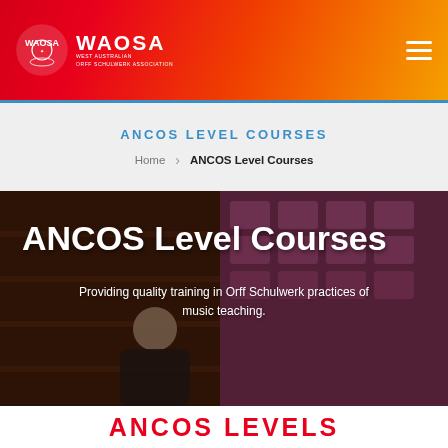[Figure (logo): WAOSA - West Australian Orff Schulwerk Association logo with circular emblem and text]
WAOSA - West Australian Orff Schulwerk Association header with navigation hamburger menu
ANCOS LEVEL COURSES
Home > ANCOS Level Courses
[Figure (photo): Background photo of a woman with short blonde hair seated in a lecture hall with purple/pink seats, partially obscured]
ANCOS Level Courses
Providing quality training in Orff Schulwerk practices of music teaching.
ANCOS LEVELS